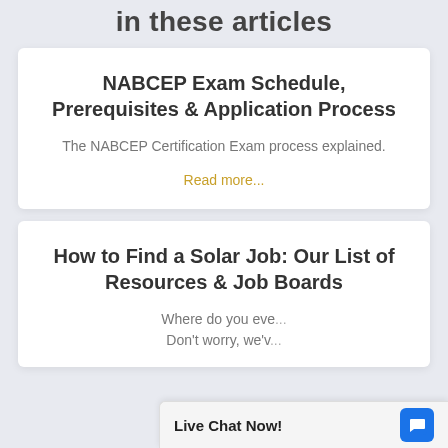in these articles
NABCEP Exam Schedule, Prerequisites & Application Process
The NABCEP Certification Exam process explained.
Read more...
How to Find a Solar Job: Our List of Resources & Job Boards
Where do you eve... Don't worry, we'v...
Live Chat Now!